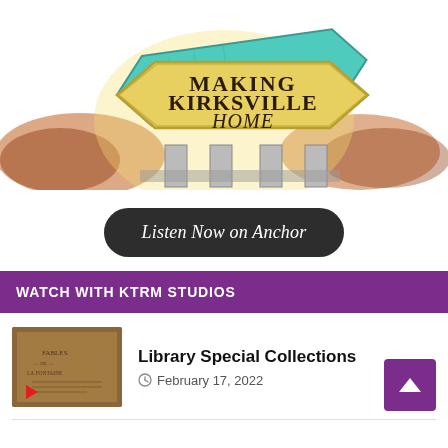[Figure (illustration): Illustrated road sign reading 'Making Kirksville Home' with teal and yellow/gold colored signs on a post, surrounded by stylized shrubs and background]
Listen Now on Anchor
WATCH WITH KTRM STUDIOS
[Figure (screenshot): Thumbnail image of an old book or manuscript page with a play button overlay]
Library Special Collections
February 17, 2022